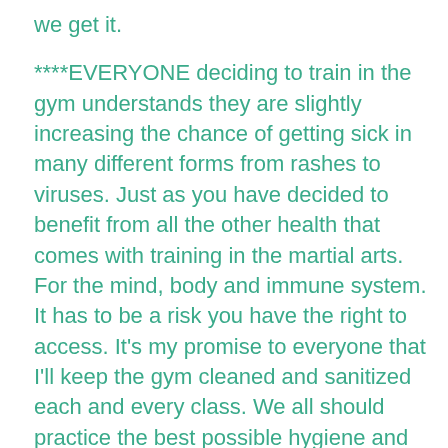we get it.
****EVERYONE deciding to train in the gym understands they are slightly increasing the chance of getting sick in many different forms from rashes to viruses. Just as you have decided to benefit from all the other health that comes with training in the martial arts. For the mind, body and immune system. It has to be a risk you have the right to access. It's my promise to everyone that I'll keep the gym cleaned and sanitized each and every class. We all should practice the best possible hygiene and respect our training environment and partners as well.